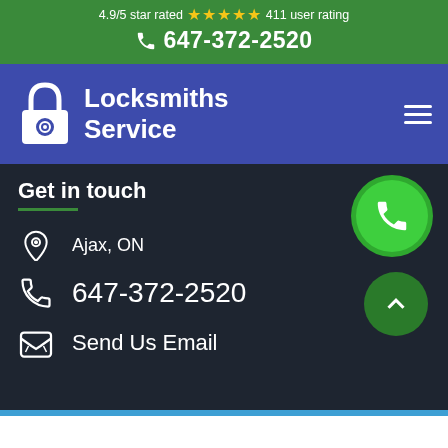4.9/5 star rated ★★★★★ 411 user rating
📞 647-372-2520
[Figure (logo): Locksmiths Service logo with padlock icon and text 'Locksmiths Service' on blue/purple navbar background with hamburger menu icon]
Get in touch
Ajax, ON
647-372-2520
Send Us Email